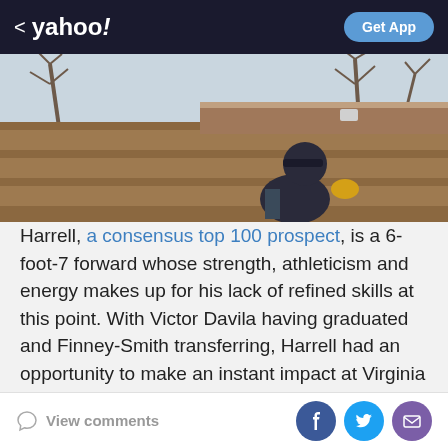< yahoo! | Get App
[Figure (photo): Person in a cap and yellow gloves working on a wooden shingled roof with bare winter trees and gray sky in the background.]
Harrell, a consensus top 100 prospect, is a 6-foot-7 forward whose strength, athleticism and energy makes up for his lack of refined skills at this point. With Victor Davila having graduated and Finney-Smith transferring, Harrell had an opportunity to make an instant impact at Virginia Tech if he stayed.
Instead Virginia Tech appears headed for another
View comments | Facebook | Twitter | Email